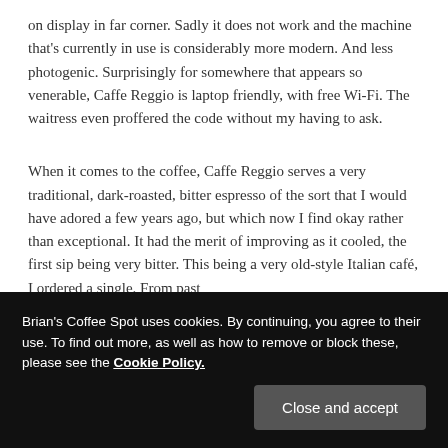on display in far corner. Sadly it does not work and the machine that's currently in use is considerably more modern. And less photogenic. Surprisingly for somewhere that appears so venerable, Caffe Reggio is laptop friendly, with free Wi-Fi. The waitress even proffered the code without my having to ask.
When it comes to the coffee, Caffe Reggio serves a very traditional, dark-roasted, bitter espresso of the sort that I would have adored a few years ago, but which now I find okay rather than exceptional. It had the merit of improving as it cooled, the first sip being very bitter. This being a very old-style Italian café, I ordered a single. From past
Brian's Coffee Spot uses cookies. By continuing, you agree to their use. To find out more, as well as how to remove or block these, please see the Cookie Policy.